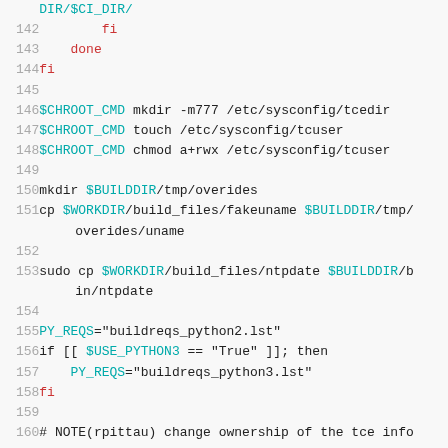Code listing lines 142–160 (shell script)